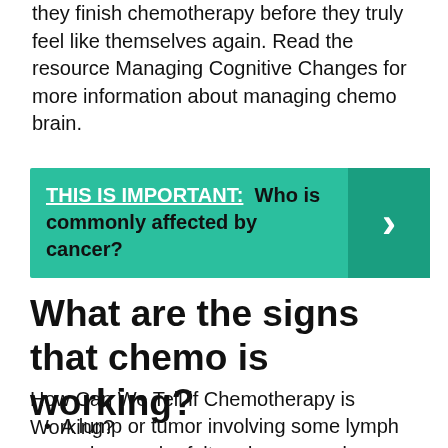they finish chemotherapy before they truly feel like themselves again. Read the resource Managing Cognitive Changes for more information about managing chemo brain.
[Figure (infographic): Teal banner with text 'THIS IS IMPORTANT: Who is commonly affected by cancer?' and a darker teal right-arrow chevron button on the right side.]
What are the signs that chemo is working?
How Can We Tell if Chemotherapy is Working?
A lump or tumor involving some lymph nodes can be felt and measured externally by physical examination.